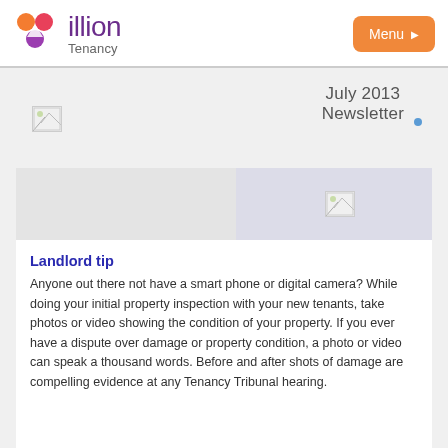illion Tenancy — Menu
July 2013 Newsletter
[Figure (illustration): Broken image placeholder (left, small)]
[Figure (illustration): Broken image placeholder (right, small, in gray strip)]
Landlord tip
Anyone out there not have a smart phone or digital camera? While doing your initial property inspection with your new tenants, take photos or video showing the condition of your property. If you ever have a dispute over damage or property condition, a photo or video can speak a thousand words. Before and after shots of damage are compelling evidence at any Tenancy Tribunal hearing.